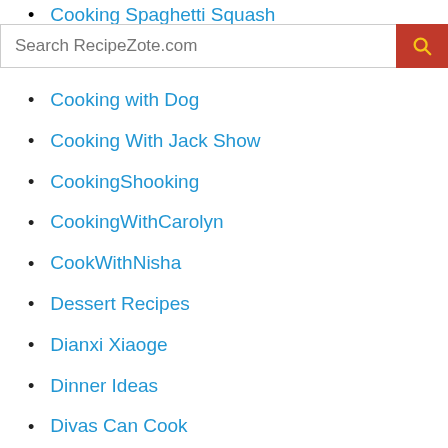Cooking Spaghetti Squash
Cooking with Dog
Cooking With Jack Show
CookingShooking
CookingWithCarolyn
CookWithNisha
Dessert Recipes
Dianxi Xiaoge
Dinner Ideas
Divas Can Cook
Donal Skehan
Emma's Goodies
emmymadeinjapan